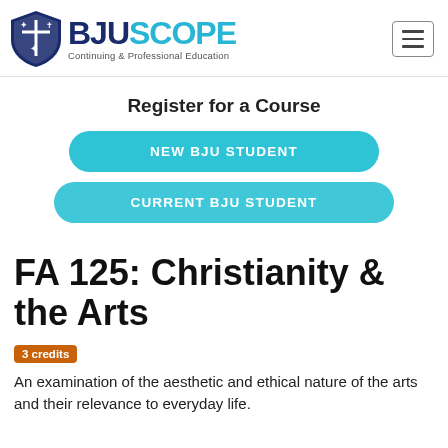[Figure (logo): BJU Scope logo with shield icon and text 'BJUSCOPE Continuing & Professional Education']
Register for a Course
NEW BJU STUDENT
CURRENT BJU STUDENT
FA 125: Christianity & the Arts
3 credits
An examination of the aesthetic and ethical nature of the arts and their relevance to everyday life.